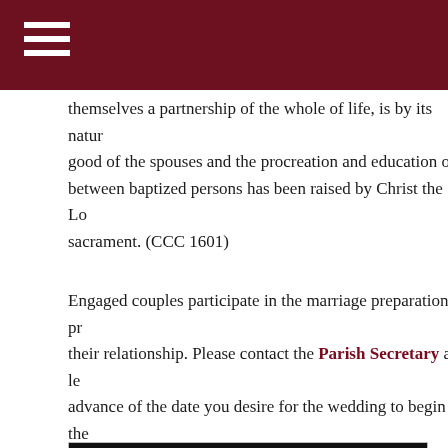themselves a partnership of the whole of life, is by its natur good of the spouses and the procreation and education of between baptized persons has been raised by Christ the Lo sacrament. (CCC 1601)
Engaged couples participate in the marriage preparation pr their relationship. Please contact the Parish Secretary at le advance of the date you desire for the wedding to begin the
[Figure (logo): PREPARE/ENRICH logo — black background with stylized heart-hands icon, text 'PREPARE ENRICH' and tagline '· building strong marriages ·']
PREPARE/ENRICH is a customized couple assessment program that identifies strengths
is one of the most widely used programs for premarital cou